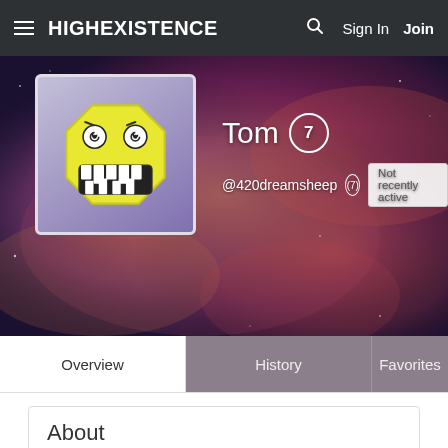HIGHEXISTENCE  Sign In  Join
[Figure (screenshot): User profile page for 'Tom' (@420dreamsheep) on HighExistence website, showing nebula background, avatar of cartoon emoji face, username with level badge '7', handle '@420dreamsheep', 'Not recently active' badge, tabs for Overview/History/Favorites, and an About section with Location: London, UK]
About
Location
London, UK